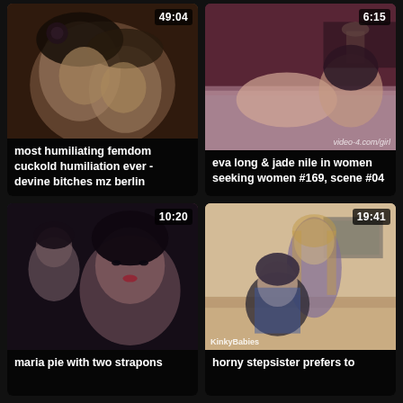[Figure (screenshot): Video thumbnail showing two people in close-up, duration 49:04]
most humiliating femdom cuckold humiliation ever - devine bitches mz berlin
[Figure (screenshot): Video thumbnail showing two women on a bed, watermark 'video-4.com/girl', duration 6:15]
eva long & jade nile in women seeking women #169, scene #04
[Figure (screenshot): Video thumbnail showing two women, duration 10:20]
maria pie with two strapons
[Figure (screenshot): Video thumbnail showing two younger women on a couch, watermark 'KinkyBabies', duration 19:41]
horny stepsister prefers to